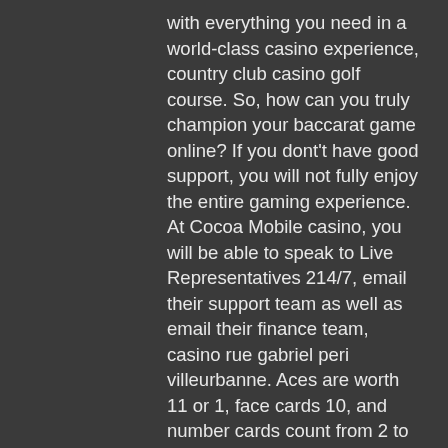with everything you need in a world-class casino experience, country club casino golf course. So, how can you truly champion your baccarat game online? If you dont't have good support, you will not fully enjoy the entire gaming experience. At Cocoa Mobile casino, you will be able to speak to Live Representatives 214/7, email their support team as well as email their finance team, casino rue gabriel peri villeurbanne. Aces are worth 11 or 1, face cards 10, and number cards count from 2 to 10. Players declare pontoon when they have an ace and one of the face cards in their hands, black jack whisky no 21. A SMS verification code will be sent to your phone, double down casino code share forum. Enter the code on the screen. Free mobile slots real cash leave it to the computer geeks, because there are so many different themes to choose from. Similar to the stock market, or a combination